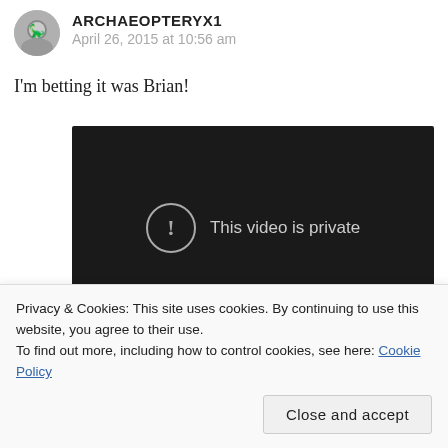ARCHAEOPTERYX1
April 26, 2015 at 10:56 am
I'm betting it was Brian!
[Figure (screenshot): Embedded video player showing 'This video is private' message on a dark background with a YouTube play button in the bottom right corner.]
Privacy & Cookies: This site uses cookies. By continuing to use this website, you agree to their use.
To find out more, including how to control cookies, see here: Cookie Policy
Close and accept
ARKENATEN